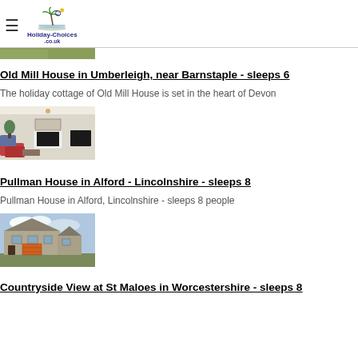Holiday-Choices.co.uk
[Figure (photo): Partial image of a previous listing (green landscape, cropped at top)]
Old Mill House in Umberleigh, near Barnstaple - sleeps 6
The holiday cottage of Old Mill House is set in the heart of Devon
[Figure (photo): Interior of Old Mill House showing a living room with fireplace, red sofa, chandelier, and large mirror]
Pullman House in Alford - Lincolnshire - sleeps 8
Pullman House in Alford, Lincolnshire - sleeps 8 people
[Figure (photo): Exterior of Pullman House, a stone cottage with orange garage door under a cloudy sky]
Countryside View at St Maloes in Worcestershire - sleeps 8